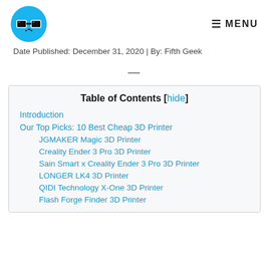Fifth Geek logo and MENU navigation
Date Published: December 31, 2020 | By: Fifth Geek
—
| Table of Contents [hide] |
| Introduction |
| Our Top Picks: 10 Best Cheap 3D Printer |
| JGMAKER Magic 3D Printer |
| Creality Ender 3 Pro 3D Printer |
| Sain Smart x Creality Ender 3 Pro 3D Printer |
| LONGER LK4 3D Printer |
| QIDI Technology X-One 3D Printer |
| Flash Forge Finder 3D Printer |